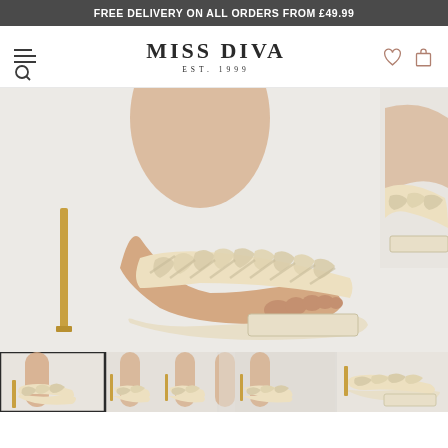FREE DELIVERY ON ALL ORDERS FROM £49.99
[Figure (logo): Miss Diva Est. 1999 brand logo with hamburger menu, search icon, heart icon, and shopping bag icon]
[Figure (photo): Close-up product photo of cream/off-white braided strap heeled mule sandals on a model's foot, showing woven toe strap detail and square toe, with gold stiletto heel, on white background]
[Figure (photo): Thumbnail strip showing four views of the same cream braided strap heeled mule: front-on model wearing, side view model wearing, back view model wearing, and product-only side view]